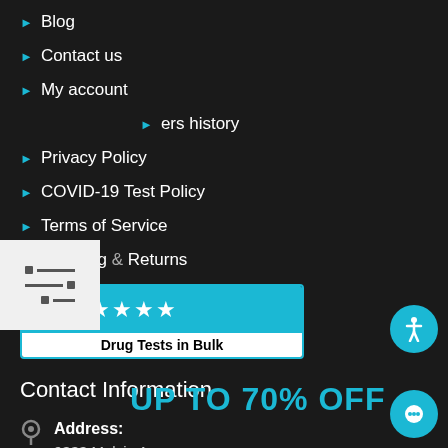Blog
Contact us
My account
Orders history
Privacy Policy
COVID-19 Test Policy
Terms of Service
Shipping & Returns
[Figure (logo): Five-star rating badge for Drug Tests in Bulk on a teal background with white text]
Contact Information
Address: 9333 Melvin Ave, Northridge, CA 91324
UP TO 70% OFF